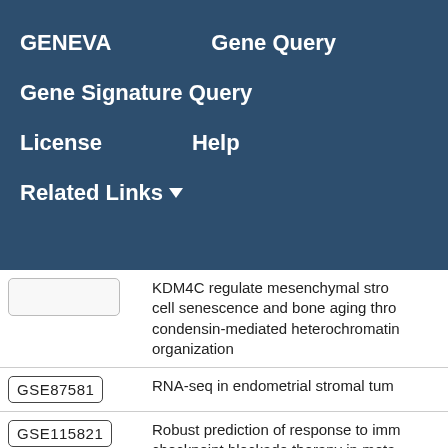GENEVA
Gene Query
Gene Signature Query
License
Help
Related Links
| ID | Description |
| --- | --- |
|  | KDM4C regulate mesenchymal stromal cell senescence and bone aging through condensin-mediated heterochromatin organization |
| GSE87581 | RNA-seq in endometrial stromal tum |
| GSE115821 | Robust prediction of response to immune checkpoint blockade therapy in meta |